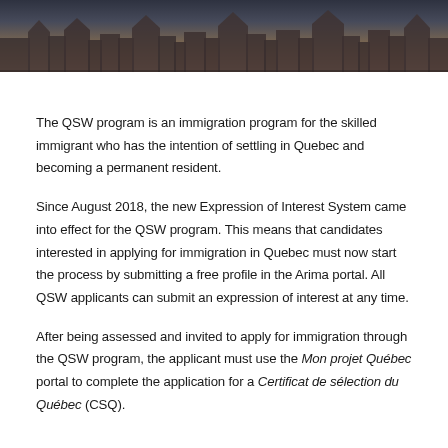[Figure (photo): Aerial view of a city with rooftops, buildings, and a slightly dark atmospheric haze — appears to be a European or Quebec city skyline photo used as a page header banner.]
The QSW program is an immigration program for the skilled immigrant who has the intention of settling in Quebec and becoming a permanent resident.
Since August 2018, the new Expression of Interest System came into effect for the QSW program. This means that candidates interested in applying for immigration in Quebec must now start the process by submitting a free profile in the Arima portal. All QSW applicants can submit an expression of interest at any time.
After being assessed and invited to apply for immigration through the QSW program, the applicant must use the Mon projet Québec portal to complete the application for a Certificat de sélection du Québec (CSQ).